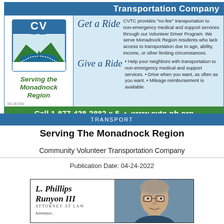[Figure (illustration): CVTC (Community Volunteer Transportation Company) advertisement with logo showing mountains and lake on left, text on right including 'Get a Ride' and 'Give a Ride' sections, blue header 'Transportation Company', and green footer 'Call 1-877-428-2882 x 5 • www.cvtc-nh.org']
TRANSPORT
Serving The Monadnock Region
Community Volunteer Transportation Company
Publication Date: 04-24-2022
[Figure (illustration): Advertisement for L. Phillips Runyon III, Attorney at Law, with photo of a man with glasses and gray hair on the right side]